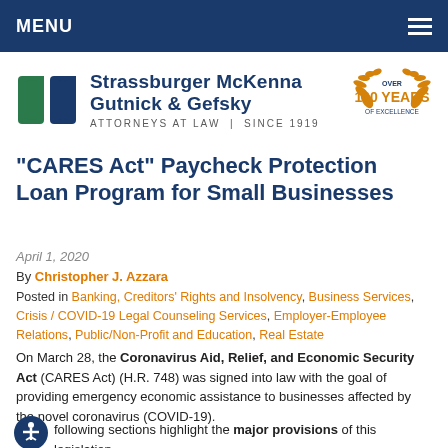MENU
[Figure (logo): Strassburger McKenna Gutnick & Gefsky law firm logo with two colored shield shapes and 'Over 100 Years of Excellence' gold laurel badge]
“CARES Act” Paycheck Protection Loan Program for Small Businesses
April 1, 2020
By Christopher J. Azzara
Posted in Banking, Creditors’ Rights and Insolvency, Business Services, Crisis / COVID-19 Legal Counseling Services, Employer-Employee Relations, Public/Non-Profit and Education, Real Estate
On March 28, the Coronavirus Aid, Relief, and Economic Security Act (CARES Act) (H.R. 748) was signed into law with the goal of providing emergency economic assistance to businesses affected by the novel coronavirus (COVID-19).
The following sections highlight the major provisions of this legislation, which is designed to safeguard both employers and employees during an